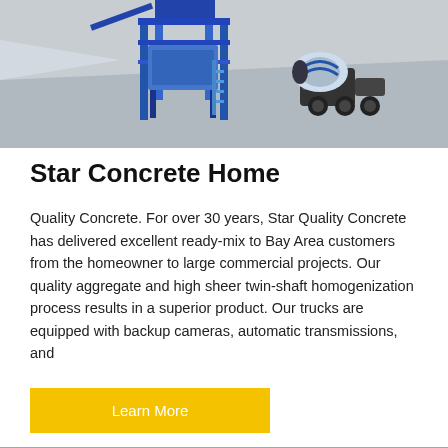[Figure (illustration): 3D rendering of a concrete batching plant with blue steel structure and a concrete mixer truck on a grey surface.]
Star Concrete Home
Quality Concrete. For over 30 years, Star Quality Concrete has delivered excellent ready-mix to Bay Area customers from the homeowner to large commercial projects. Our quality aggregate and high sheer twin-shaft homogenization process results in a superior product. Our trucks are equipped with backup cameras, automatic transmissions, and
[Figure (illustration): Photo of a white and green concrete mixer truck cab with a rotating drum against a blue sky with clouds, plus a dark circular scroll-to-top button with an upward arrow.]